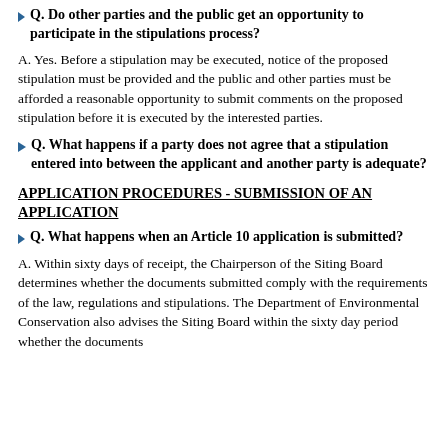Q. Do other parties and the public get an opportunity to participate in the stipulations process?
A. Yes. Before a stipulation may be executed, notice of the proposed stipulation must be provided and the public and other parties must be afforded a reasonable opportunity to submit comments on the proposed stipulation before it is executed by the interested parties.
Q. What happens if a party does not agree that a stipulation entered into between the applicant and another party is adequate?
APPLICATION PROCEDURES - SUBMISSION OF AN APPLICATION
Q. What happens when an Article 10 application is submitted?
A. Within sixty days of receipt, the Chairperson of the Siting Board determines whether the documents submitted comply with the requirements of the law, regulations and stipulations. The Department of Environmental Conservation also advises the Siting Board within the sixty day period whether the documents